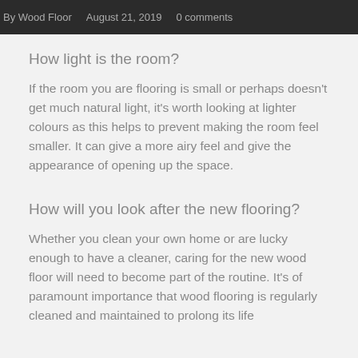By Wood Floor   August 21, 2019   0 comments
How light is the room?
If the room you are flooring is small or perhaps doesn't get much natural light, it's worth looking at lighter colours as this helps to prevent making the room feel smaller. It can give a more airy feel and give the appearance of opening up the space.
How will you look after the new flooring?
Whether you clean your own home or are lucky enough to have a cleaner, caring for the new wood floor will need to become part of the routine. It's of paramount importance that wood flooring is regularly cleaned and maintained to prolong its life